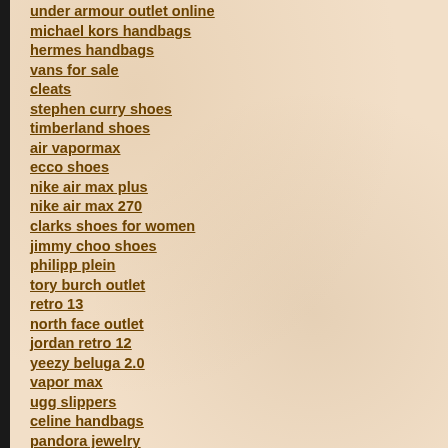under armour outlet online
michael kors handbags
hermes handbags
vans for sale
cleats
stephen curry shoes
timberland shoes
air vapormax
ecco shoes
nike air max plus
nike air max 270
clarks shoes for women
jimmy choo shoes
philipp plein
tory burch outlet
retro 13
north face outlet
jordan retro 12
yeezy beluga 2.0
vapor max
ugg slippers
celine handbags
pandora jewelry
kyrie 4 shoes
ecco shoes for men
timberland shoes